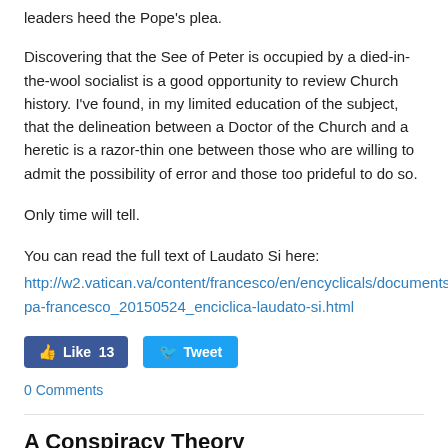leaders heed the Pope's plea.
Discovering that the See of Peter is occupied by a died-in-the-wool socialist is a good opportunity to review Church history. I've found, in my limited education of the subject, that the delineation between a Doctor of the Church and a heretic is a razor-thin one between those who are willing to admit the possibility of error and those too prideful to do so.
Only time will tell.
You can read the full text of Laudato Si here:
http://w2.vatican.va/content/francesco/en/encyclicals/documents/papa-francesco_20150524_enciclica-laudato-si.html
[Figure (other): Facebook Like button showing 13 likes and Twitter Tweet button]
0 Comments
A Conspiracy Theory
5/6/2015
0 Comments